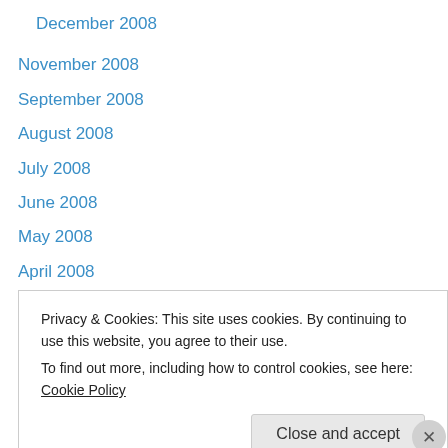December 2008
November 2008
September 2008
August 2008
July 2008
June 2008
May 2008
April 2008
March 2008
February 2008
January 2008
December 2007
November 2007
Privacy & Cookies: This site uses cookies. By continuing to use this website, you agree to their use.
To find out more, including how to control cookies, see here: Cookie Policy